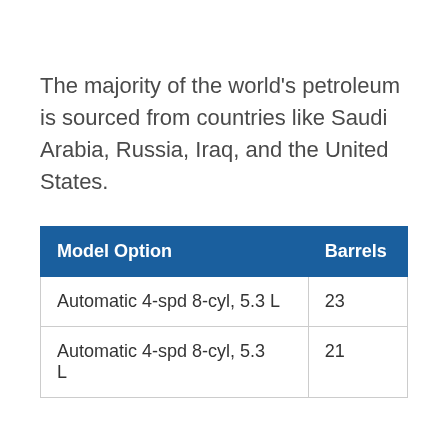The majority of the world's petroleum is sourced from countries like Saudi Arabia, Russia, Iraq, and the United States.
| Model Option | Barrels |
| --- | --- |
| Automatic 4-spd 8-cyl, 5.3 L | 23 |
| Automatic 4-spd 8-cyl, 5.3 L | 21 |